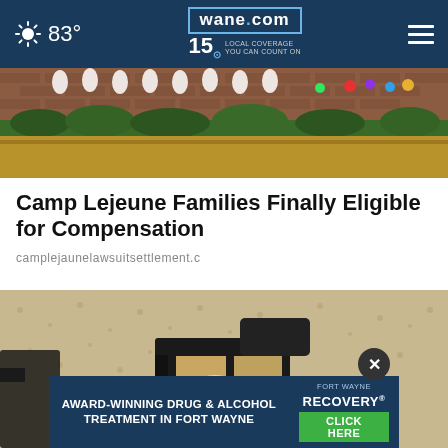83° | wane.com 15 LOCAL COVERAGE YOU CAN COUNT ON
[Figure (photo): Outdoor photo showing people near a brick wall with green shrubs and dry grass foreground]
Camp Lejeune Families Finally Eligible for Compensation
camplejaunelawsuitsettlement.c
[Figure (photo): Close-up of a black wall-mounted lantern light fixture on a textured stone/stucco wall]
AWARD-WINNING DRUG & ALCOHOL TREATMENT IN FORT WAYNE | Fort Wayne RECOVERY CLICK HERE